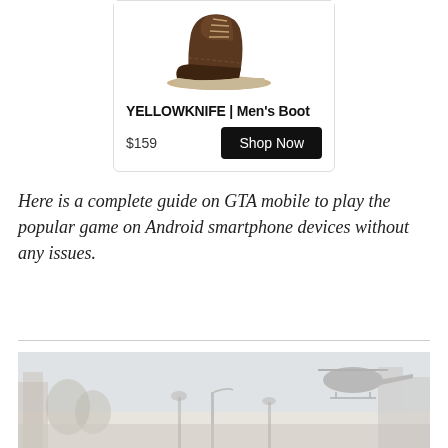[Figure (illustration): Product ad card showing a brown men's duck boot (YELLOWKNIFE | Men's Boot) with price $159 and a 'Shop Now' button]
Here is a complete guide on GTA mobile to play the popular game on Android smartphone devices without any issues.
[Figure (screenshot): Faded/washed-out screenshot of GTA game showing a city street scene with palm trees, a helicopter in the sky, and urban buildings]